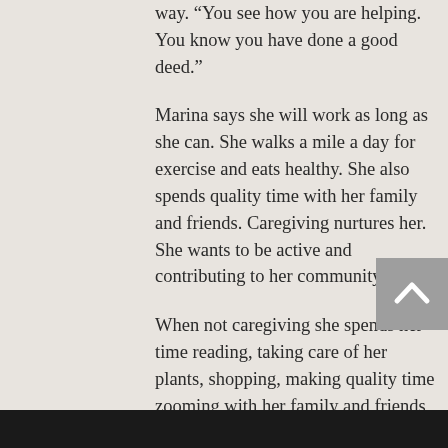way. “You see how you are helping. You know you have done a good deed.”
Marina says she will work as long as she can. She walks a mile a day for exercise and eats healthy. She also spends quality time with her family and friends. Caregiving nurtures her. She wants to be active and contributing to her community.
When not caregiving she spends her time reading, taking care of her plants, shopping, making quality time zooming with her family and friends, and traveling. She travels to the Philippines and in Europe from time to time. The flexibility of her schedule and working for a reputable in-home care agency allow her to live [redacted] the fullest.